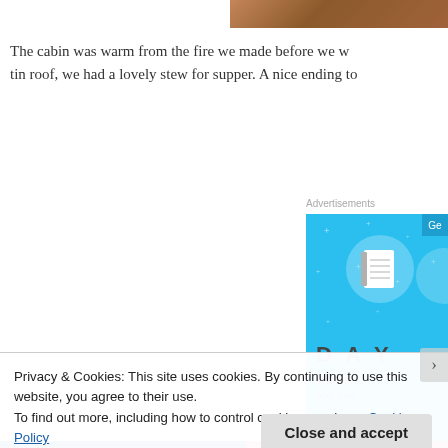[Figure (photo): Partial photo strip at top right, showing warm brown/wood tones (cabin interior)]
The cabin was warm from the fire we made before we w… tin roof, we had a lovely stew for supper. A nice ending to…
Advertisements
[Figure (screenshot): Blue advertisement banner for a journaling/notes app called DAY. Shows a notebook icon in a circle, stars, the text 'DAY' and 'The only app you']
Privacy & Cookies: This site uses cookies. By continuing to use this website, you agree to their use.
To find out more, including how to control cookies, see here: Cookie Policy
Close and accept